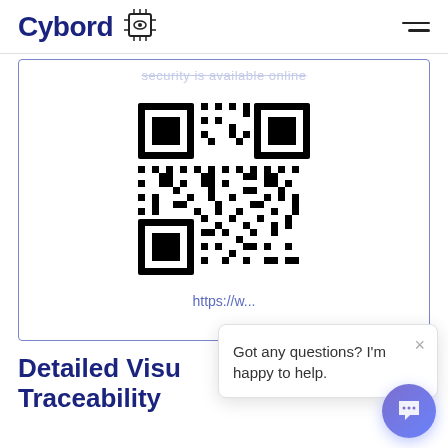Cybord
[Figure (other): QR code linking to a URL, shown inside a bordered card with a partially visible URL (https://w...) and truncated heading text above]
https://w...
Detailed Visual Traceability
Traditional traceability systems rely on inputted
Got any questions? I'm happy to help.